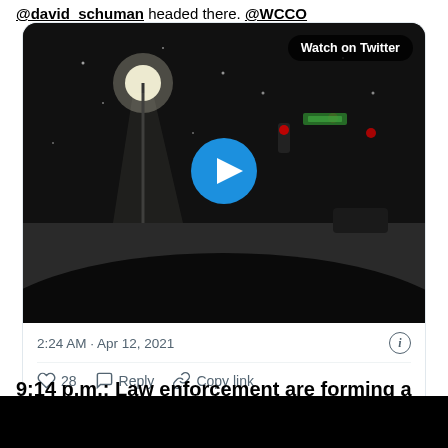@david_schuman headed there. @WCCO
[Figure (screenshot): A Twitter/X embedded tweet card showing a nighttime video thumbnail of a street intersection with red traffic lights and snowy conditions. A blue play button is centered on the video. A 'Watch on Twitter' badge appears in the top right of the thumbnail. Below the thumbnail: timestamp '2:24 AM · Apr 12, 2021' with an info icon, a divider, action buttons (heart/28, Reply, Copy link), and a 'Read 4 replies' button.]
9:14 p.m.: Law enforcement are forming a human